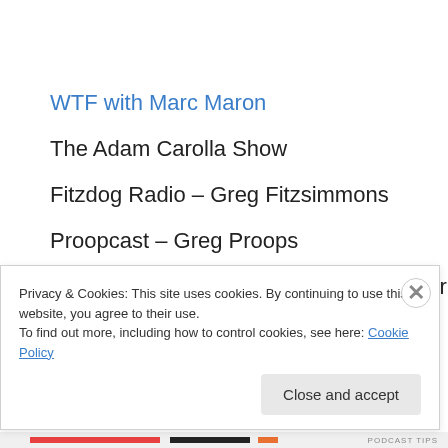WTF with Marc Maron
The Adam Carolla Show
Fitzdog Radio – Greg Fitzsimmons
Proopcast – Greg Proops
This Week with Larry Miller – Larry Miller
Privacy & Cookies: This site uses cookies. By continuing to use this website, you agree to their use.
To find out more, including how to control cookies, see here: Cookie Policy
Close and accept